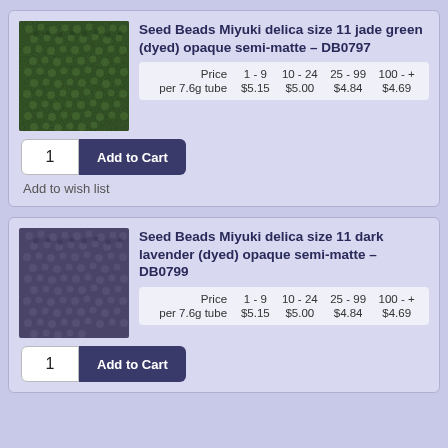[Figure (photo): Close-up texture photo of jade green seed beads]
Seed Beads Miyuki delica size 11 jade green (dyed) opaque semi-matte - DB0797
| Price per 7.6g tube | 1 - 9 | 10 - 24 | 25 - 99 | 100 - + |
| --- | --- | --- | --- | --- |
| $5.15 | $5.00 | $4.84 | $4.69 |
Add to wish list
[Figure (photo): Close-up texture photo of dark lavender seed beads]
Seed Beads Miyuki delica size 11 dark lavender (dyed) opaque semi-matte - DB0799
| Price per 7.6g tube | 1 - 9 | 10 - 24 | 25 - 99 | 100 - + |
| --- | --- | --- | --- | --- |
| $5.15 | $5.00 | $4.84 | $4.69 |